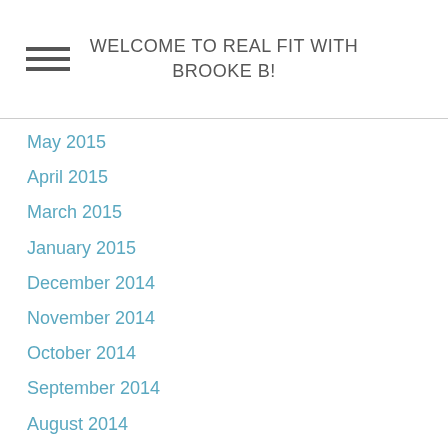WELCOME TO REAL FIT WITH BROOKE B!
May 2015
April 2015
March 2015
January 2015
December 2014
November 2014
October 2014
September 2014
August 2014
July 2014